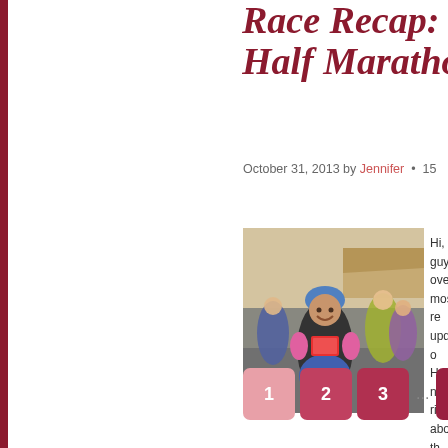Race Recap: [R...] Half Marathon[...]
October 31, 2013 by Jennifer · 15
[Figure (photo): Woman runner in blue shorts and dark top with race bib, smiling, running in a road race with other runners and tents in background]
Hi, guys... overdue... most re... update o... Hallowe... never, ri... about th...
· 15 COMMENTS
1 2 3 ... 5